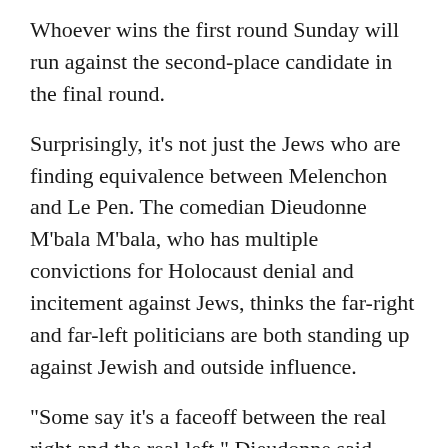Whoever wins the first round Sunday will run against the second-place candidate in the final round.
Surprisingly, it’s not just the Jews who are finding equivalence between Melenchon and Le Pen. The comedian Dieudonne M’bala M’bala, who has multiple convictions for Holocaust denial and incitement against Jews, thinks the far-right and far-left politicians are both standing up against Jewish and outside influence.
“Some say it’s a faceoff between the real right and the real left,” Dieudonne said about Le Pen and Melenchon in a video he posted Tuesday and which has been viewed more than 160,000 times. “I say it’s the real France that will fight the France of Rothschild and of Qatar that finances terrorism and war in the world.”
Le Pen and Melenchon, he said, “are the candidates of